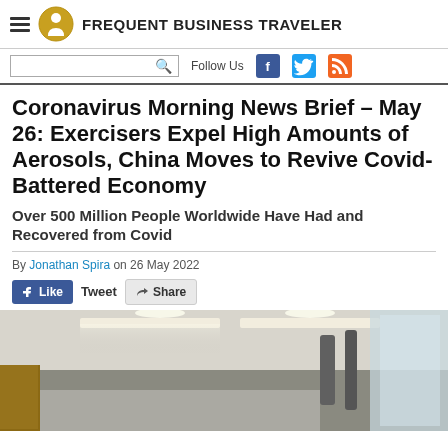FREQUENT BUSINESS TRAVELER
Coronavirus Morning News Brief – May 26: Exercisers Expel High Amounts of Aerosols, China Moves to Revive Covid-Battered Economy
Over 500 Million People Worldwide Have Had and Recovered from Covid
By Jonathan Spira on 26 May 2022
[Figure (photo): Interior photo of a modern building ceiling with recessed lighting and ventilation ducts visible, taken from a low angle looking upward.]